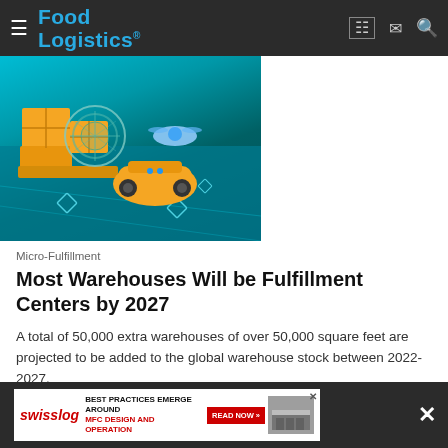Food Logistics
[Figure (photo): Illustration of automated warehouse robots: an orange autonomous mobile robot carrying packages on a teal/cyan futuristic floor background with cardboard boxes and a drone nearby.]
Micro-Fulfillment
Most Warehouses Will be Fulfillment Centers by 2027
A total of 50,000 extra warehouses of over 50,000 square feet are projected to be added to the global warehouse stock between 2022-2027.
Interact Analysis   August 10, 2022
[Figure (advertisement): Swisslog advertisement banner: 'BEST PRACTICES EMERGE AROUND MFC DESIGN AND OPERATION' with a READ NOW button.]